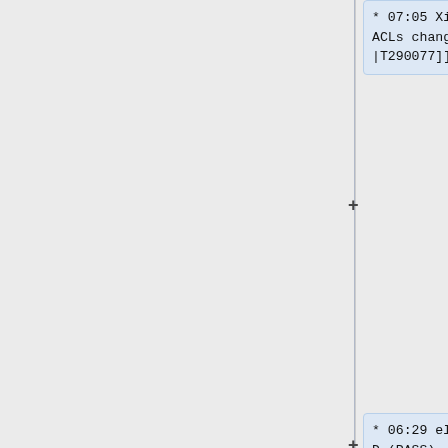* 07:05 XioNoX: pfw NAT and ACLs changes - [[phab:T290077|T290077]]
* 06:29 elukey@cumin1001: END (PASS) - Cookbook sre.puppet.renew-cert (exit_code=0) for sodium.wikimedia.org: Renew puppet